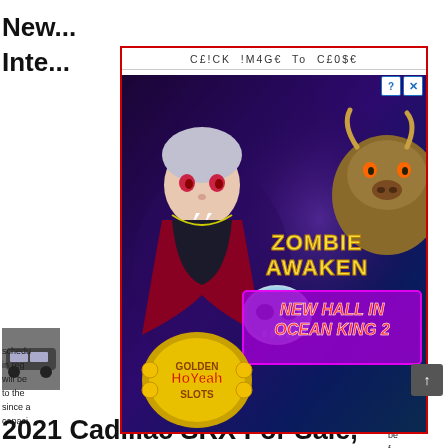New ... Inte...
[Figure (screenshot): Pop-up advertisement overlay with red border showing 'CE!CK !M4GE To CE0$E' at top and a gaming advertisement image for 'Zombie Awaken - New Hall in Ocean King 2' and 'Golden Ho Yeah Slots', with a dark fantasy theme featuring a vampire, skull, and bull characters.]
...pecs ...re ...rk schedule... ...plate in rega... ...s SRX will be... ...alent to the ... ...be since a... ...f capaci... ...ut bli
2021 Cadillac SRX For Sale,